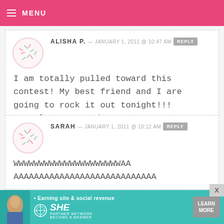MENU
ALISHA P. — JANUARY 1, 2011 @ 10:47 AM REPLY
I am totally pulled toward this contest! My best friend and I are going to rock it out tonight!!! Spatulas are ready!!!
SARAH — JANUARY 1, 2011 @ 10:12 AM REPLY
WWWWWWWWWWWWWWWWWWWWWAA AAAAAAAAAAAAAAAAAAAAAAAAAAAA